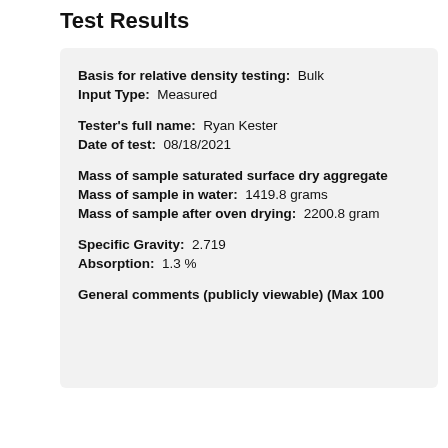Test Results
Basis for relative density testing: Bulk
Input Type: Measured
Tester's full name: Ryan Kester
Date of test: 08/18/2021
Mass of sample saturated surface dry aggregate:
Mass of sample in water: 1419.8 grams
Mass of sample after oven drying: 2200.8 grams
Specific Gravity: 2.719
Absorption: 1.3 %
General comments (publicly viewable) (Max 100